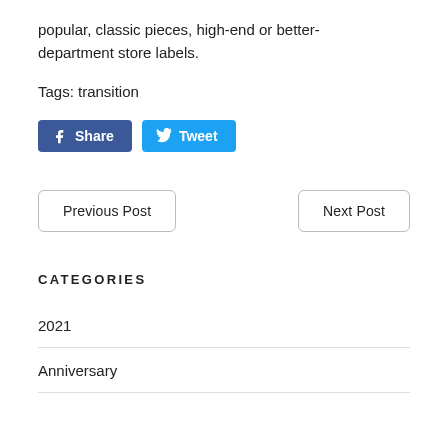popular, classic pieces, high-end or better-department store labels.
Tags: transition
[Figure (other): Social share buttons: Facebook Share button (dark blue) and Twitter Tweet button (light blue)]
Previous Post | Next Post navigation buttons
CATEGORIES
2021
Anniversary